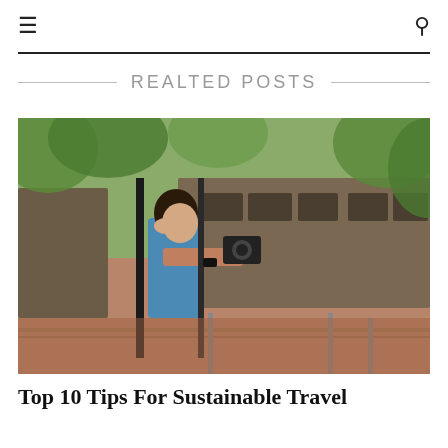≡  🔍
REALTED POSTS
[Figure (photo): A woman leaning out of a train window holding a camera, with trees and train tracks visible in the background.]
Top 10 Tips For Sustainable Travel